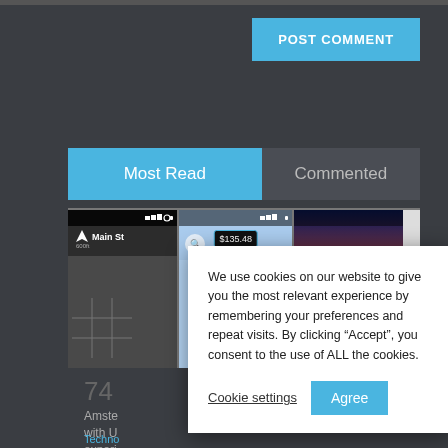[Figure (screenshot): Dark website UI showing POST COMMENT button in blue, Most Read / Commented tab bar, Android app screenshots strip, article number 74, article text about Amsterdam, and a cookie consent dialog overlay with Cookie settings and Agree button]
POST COMMENT
Most Read
Commented
74
Amste...with U...experi...
Technology
We use cookies on our website to give you the most relevant experience by remembering your preferences and repeat visits. By clicking “Accept”, you consent to the use of ALL the cookies.
Cookie settings
Agree